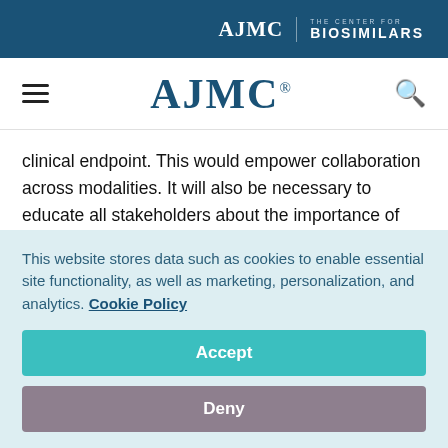AJMC | THE CENTER FOR BIOSIMILARS
AJMC
clinical endpoint. This would empower collaboration across modalities. It will also be necessary to educate all stakeholders about the importance of each new therapeutic alternative and its intended mechanism of action.

Achieving this transition requires healthcare to move away
This website stores data such as cookies to enable essential site functionality, as well as marketing, personalization, and analytics. Cookie Policy
Accept
Deny